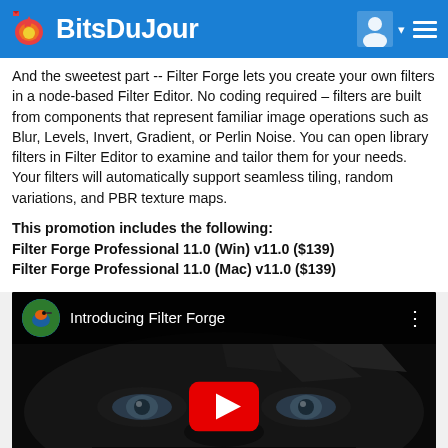BitsDuJour
And the sweetest part -- Filter Forge lets you create your own filters in a node-based Filter Editor. No coding required – filters are built from components that represent familiar image operations such as Blur, Levels, Invert, Gradient, or Perlin Noise. You can open library filters in Filter Editor to examine and tailor them for your needs. Your filters will automatically support seamless tiling, random variations, and PBR texture maps.
This promotion includes the following:
Filter Forge Professional 11.0 (Win) v11.0 ($139)
Filter Forge Professional 11.0 (Mac) v11.0 ($139)
[Figure (screenshot): YouTube video embed showing 'Introducing Filter Forge' with a play button overlay on a dark image of eyes]